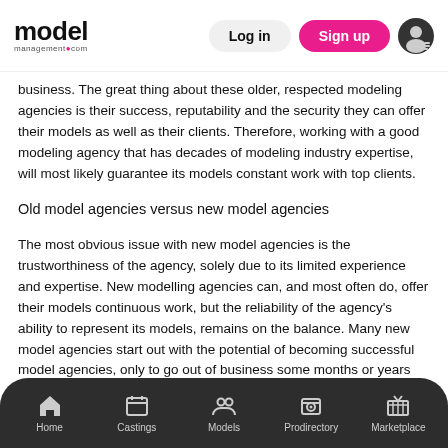model management.com — Log in | Sign up
business. The great thing about these older, respected modeling agencies is their success, reputability and the security they can offer their models as well as their clients. Therefore, working with a good modeling agency that has decades of modeling industry expertise, will most likely guarantee its models constant work with top clients.
Old model agencies versus new model agencies
The most obvious issue with new model agencies is the trustworthiness of the agency, solely due to its limited experience and expertise. New modelling agencies can, and most often do, offer their models continuous work, but the reliability of the agency's ability to represent its models, remains on the balance. Many new model agencies start out with the potential of becoming successful model agencies, only to go out of business some months or years late
Home | Castings | Models | Prodirectory | Marketplace